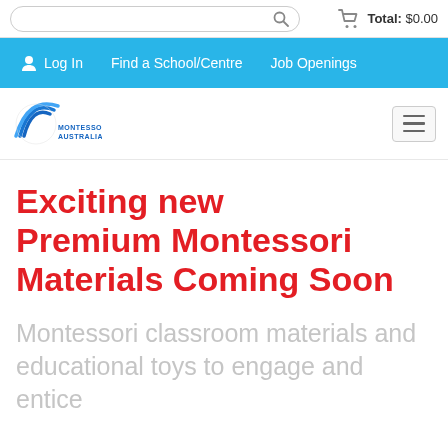Search bar with cart icon | Total: $0.00
Log In | Find a School/Centre | Job Openings
[Figure (logo): Montessori Australia logo — stylized wave arcs in blue with text MONTESSORI AUSTRALIA below]
Exciting new Premium Montessori Materials Coming Soon
Montessori classroom materials and educational toys to engage and entice